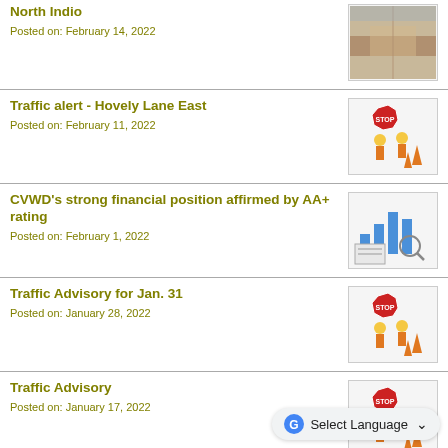North Indio
Posted on: February 14, 2022
[Figure (photo): Aerial view of a dirt road or construction site]
Traffic alert - Hovely Lane East
Posted on: February 11, 2022
[Figure (illustration): Construction worker figurines with stop sign and traffic cones]
CVWD's strong financial position affirmed by AA+ rating
Posted on: February 1, 2022
[Figure (illustration): Bar chart graphic with financial documents]
Traffic Advisory for Jan. 31
Posted on: January 28, 2022
[Figure (illustration): Construction worker figurines with stop sign and traffic cones]
Traffic Advisory
Posted on: January 17, 2022
[Figure (illustration): Construction worker figurines with stop sign and traffic cones]
CVWD Redistricting Maps Available for Public Comment
[Figure (map): Map graphic partially visible at bottom of page]